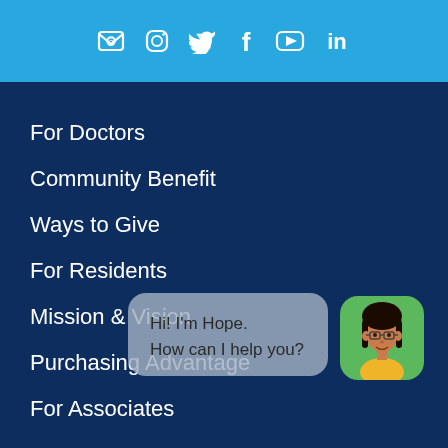[Figure (other): Social media icons row: email, instagram, twitter, facebook, youtube, linkedin — white icons on light blue background]
For Doctors
Community Benefit
Ways to Give
For Residents
Mission & Vision
Purchasing Advantage
For Associates
[Figure (illustration): Chat widget with speech bubble saying 'Hi! I'm Hope. How can I help you?' and a cartoon avatar of a woman with glasses on a green rounded square background]